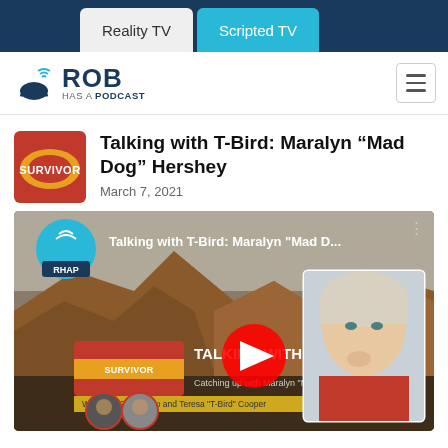Reality TV | Scripted TV
[Figure (logo): Rob Has a Podcast logo with bell/wifi icon]
Talking with T-Bird: Maralyn “Mad Dog” Hershey
March 7, 2021
[Figure (screenshot): YouTube video thumbnail for 'Talking with T-Bird: Maralyn Mad D...' featuring desert rock landscape background, Survivor logo, play button, and photo of Maralyn Hershey. Text: TALKING WITH T-, Catching up with Maralyn Mad Do..., With Rob Cesternino and Teresa T-Bird Cooper]